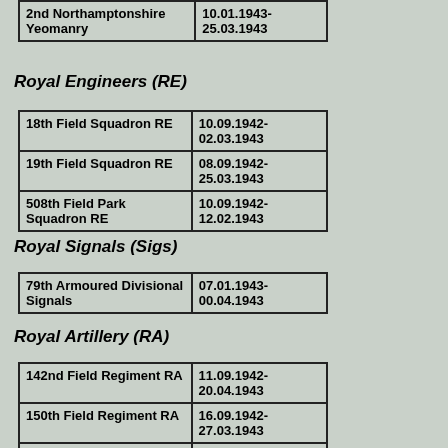| 2nd Northamptonshire Yeomanry | 10.01.1943-
25.03.1943 |
Royal Engineers (RE)
| 18th Field Squadron RE | 10.09.1942-
02.03.1943 |
| 19th Field Squadron RE | 08.09.1942-
25.03.1943 |
| 508th Field Park Squadron RE | 10.09.1942-
12.02.1943 |
Royal Signals (Sigs)
| 79th Armoured Divisional Signals | 07.01.1943-
00.04.1943 |
Royal Artillery (RA)
| 142nd Field Regiment RA | 11.09.1942-
20.04.1943 |
| 150th Field Regiment RA | 16.09.1942-
27.03.1943 |
| 55th Anti-Tank Regiment RA | 12.09.1942-
12.04.1943 |